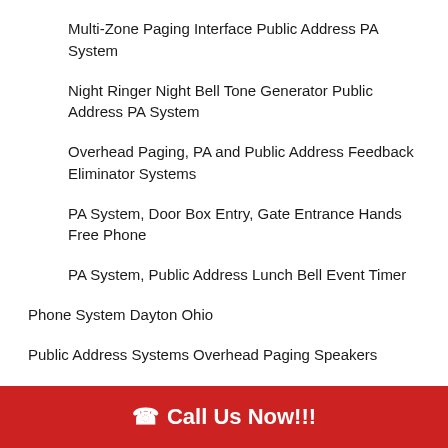Multi-Zone Paging Interface Public Address PA System
Night Ringer Night Bell Tone Generator Public Address PA System
Overhead Paging, PA and Public Address Feedback Eliminator Systems
PA System, Door Box Entry, Gate Entrance Hands Free Phone
PA System, Public Address Lunch Bell Event Timer
Phone System Dayton Ohio
Public Address Systems Overhead Paging Speakers
📞 Call Us Now!!!